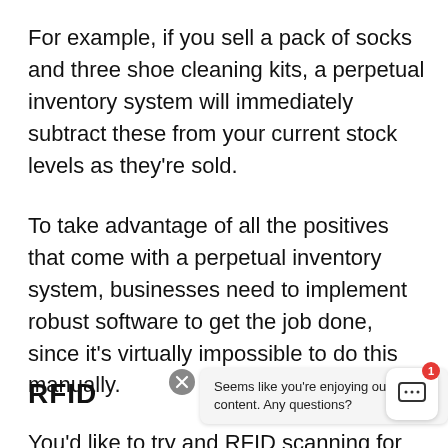For example, if you sell a pack of socks and three shoe cleaning kits, a perpetual inventory system will immediately subtract these from your current stock levels as they're sold.
To take advantage of all the positives that come with a perpetual inventory system, businesses need to implement robust software to get the job done, since it's virtually impossible to do this manually.
RFID
Seems like you're enjoying our blog content. Any questions?
You'd like to try and RFID scanning for